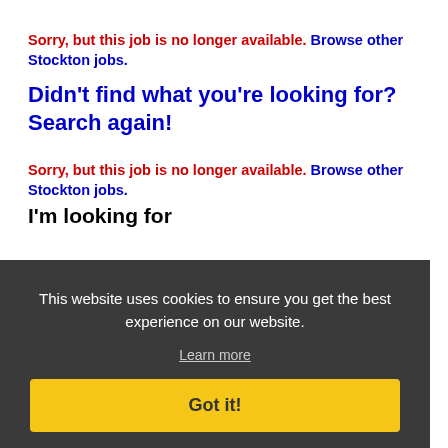Sorry, but this job is no longer available. Browse other Stockton jobs.
Didn't find what you're looking for? Search again!
Sorry, but this job is no longer available. Browse other Stockton jobs.
I'm looking for
in category
ALL
within
This website uses cookies to ensure you get the best experience on our website.
Learn more
Got it!
100 Miles of Stockton